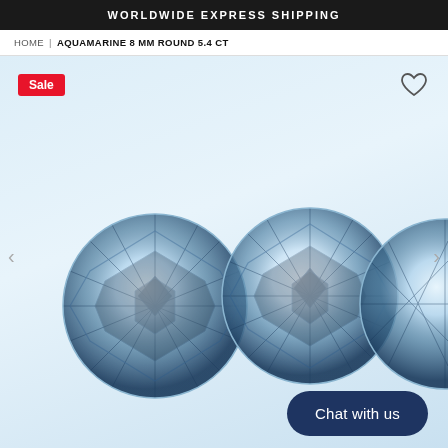WORLDWIDE EXPRESS SHIPPING
HOME | AQUAMARINE 8 MM ROUND 5.4 CT
[Figure (photo): Three round-cut aquamarine gemstones arranged side by side on a light blue-white background, with a Sale badge in the top-left corner, a heart wishlist icon in the top-right, left/right navigation arrows, and a Chat with us button in the bottom-right.]
Chat with us